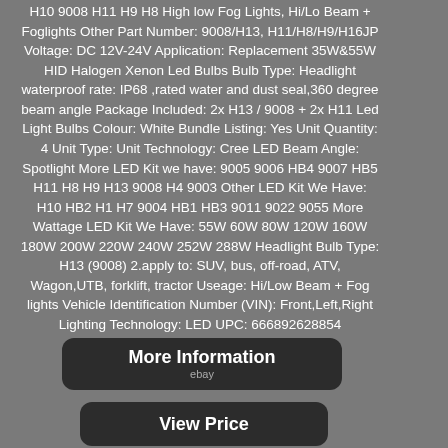H10 9008 H11 H9 H8 High low Fog Lights, Hi/Lo Beam + Foglights Other Part Number: 9008/H13, H11/H8/H9/H16JP Voltage: DC 12V-24V Application: Replacement 35W&55W HID Halogen Xenon Led Bulbs Bulb Type: Headlight waterproof rate: IP68 ,rated water and dust seal,360 degree beam angle Package Included: 2x H13 / 9008 + 2x H11 Led Light Bulbs Colour: White Bundle Listing: Yes Unit Quantity: 4 Unit Type: Unit Technology: Cree LED Beam Angle: Spotlight More LED Kit we have: 9005 9006 HB4 9007 HB5 H11 H8 H9 H13 9008 H4 9003 Other LED Kit We Have: H10 HB2 H1 H7 9004 HB1 HB3 9011 9022 9055 More Wattage LED Kit We Have: 55W 60W 80W 120W 160W 180W 200W 220W 240W 252W 288W Headlight Bulb Type: H13 (9008) 2.apply to: SUV, bus, off-road, ATV, Wagon,UTB, forklift, tractor Useage: Hi/Low Beam + Fog lights Vehicle Identification Number (VIN): Front,Left,Right Lighting Technology: LED UPC: 666892628854
[Figure (other): More Information button with ebay branding]
[Figure (other): View Price button]